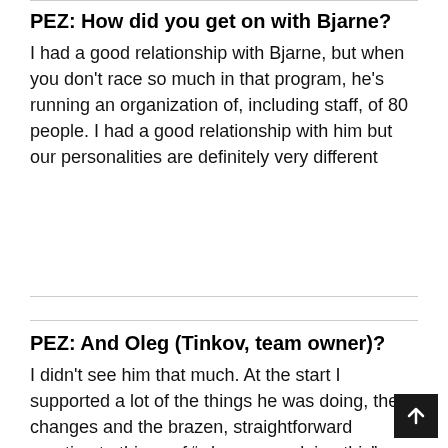PEZ: How did you get on with Bjarne?
I had a good relationship with Bjarne, but when you don't race so much in that program, he's running an organization of, including staff, of 80 people. I had a good relationship with him but our personalities are definitely very different
PEZ: And Oleg (Tinkov, team owner)?
I didn't see him that much. At the start I supported a lot of the things he was doing, the changes and the brazen, straightforward reaction to things of “why are we doing this” “why are we not doing that.”